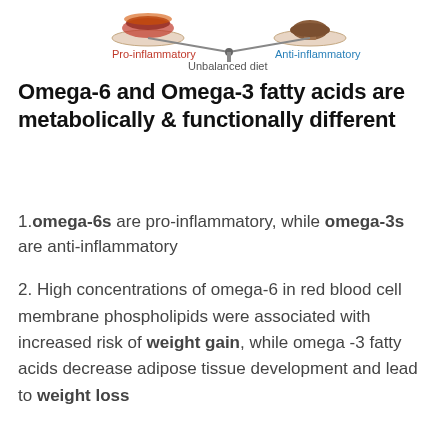[Figure (infographic): Illustration showing two foods on a scale representing pro-inflammatory (left, red label) and anti-inflammatory (right, blue label) items with 'Unbalanced diet' label at the bottom center.]
Omega-6 and Omega-3 fatty acids are metabolically & functionally different
1. omega-6s are pro-inflammatory, while omega-3s are anti-inflammatory
2. High concentrations of omega-6 in red blood cell membrane phospholipids were associated with increased risk of weight gain, while omega -3 fatty acids decrease adipose tissue development and lead to weight loss